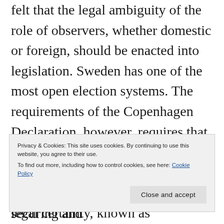felt that the legal ambiguity of the role of observers, whether domestic or foreign, should be enacted into legislation. Sweden has one of the most open election systems. The requirements of the Copenhagen Declaration, however, requires that the role, rights and responsibilities are provided by legislation. This complies with the legal principle of legal certainty, known as 'Rättssäkerhet' in the Swedish language.
Privacy & Cookies: This site uses cookies. By continuing to use this website, you agree to their use. To find out more, including how to control cookies, see here: Cookie Policy
Whilst the responsibility for securing and